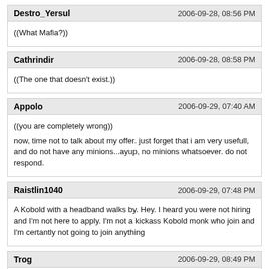Destro_Yersul | 2006-09-28, 08:56 PM
((What Mafia?))
Cathrindir | 2006-09-28, 08:58 PM
((The one that doesn't exist.))
Appolo | 2006-09-29, 07:40 AM
((you are completely wrong))
now, time not to talk about my offer. just forget that i am very usefull, and do not have any minions...ayup, no minions whatsoever. do not respond.
Raistlin1040 | 2006-09-29, 07:48 PM
A Kobold with a headband walks by. Hey. I heard you were not hiring and I'm not here to apply. I'm not a kickass Kobold monk who join and I'm certantly not going to join anything
Trog | 2006-09-29, 08:49 PM
((Huzzah! I am certainly not glad to see the Non-Existant Mafia back up and running, Sneak! ;D ))
Sneak | 2006-09-29, 09:27 PM
The second Sneak throws screams at the top of his lungs. &quot;I'm sick of this! I don't want to be a criminal!&quot; He then disappears.
The Sneakbot shuffles into the shack, wearing a dark bowler hat and a trenchcoat. &quot;I am the new supreme executive officers of this organization